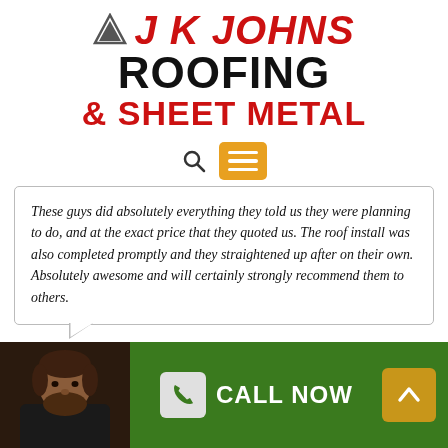[Figure (logo): JK Johns Roofing & Sheet Metal company logo with red and black bold italic text and a triangular icon]
[Figure (infographic): Navigation bar with search magnifying glass icon and orange hamburger menu button]
These guys did absolutely everything they told us they were planning to do, and at the exact price that they quoted us. The roof install was also completed promptly and they straightened up after on their own. Absolutely awesome and will certainly strongly recommend them to others.
[Figure (photo): Headshot photo of a bearded man in dark clothing against a dark background]
[Figure (infographic): Green footer bar with CALL NOW button featuring phone icon, and a gold up-arrow button]